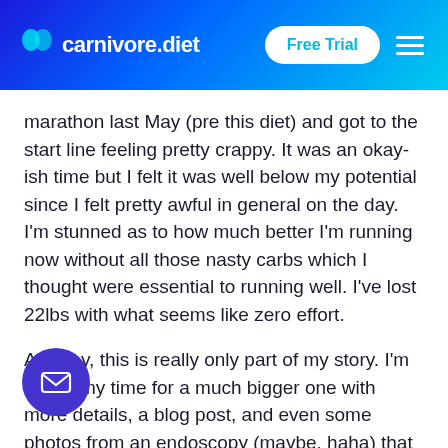carnivore.diet — Free Trial
marathon last May (pre this diet) and got to the start line feeling pretty crappy. It was an okay-ish time but I felt it was well below my potential since I felt pretty awful in general on the day. I'm stunned as to how much better I'm running now without all those nasty carbs which I thought were essential to running well. I've lost 22lbs with what seems like zero effort.
Anyway, this is really only part of my story. I'm taking my time for a much bigger one with more details, a blog post, and even some photos from an endoscopy (maybe, haha) that is based on as much fact and evidence as
[Figure (illustration): Purple circular email/message FAB button in bottom-left corner]